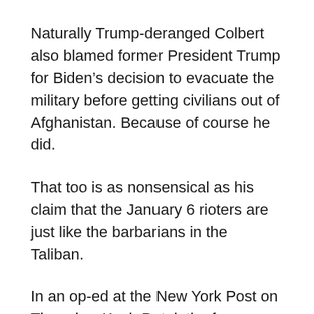Naturally Trump-deranged Colbert also blamed former President Trump for Biden’s decision to evacuate the military before getting civilians out of Afghanistan. Because of course he did.
That too is as nonsensical as his claim that the January 6 rioters are just like the barbarians in the Taliban.
In an op-ed at the New York Post on Thursday, Kash Patel, the former Pentagon chief of staff under President Trump, wrote that the Biden administration scrapped the conditions-based exit plan the Trump administration put in place.